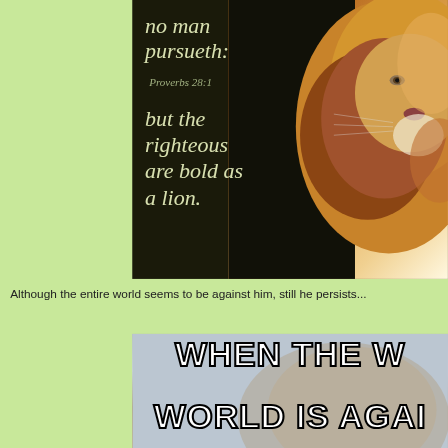[Figure (photo): A lion photograph with dark background and overlaid italic scripture text reading 'no man pursueth:' then 'Proverbs 28:1' then 'but the righteous are bold as a lion.']
Although the entire world seems to be against him, still he persists...
[Figure (photo): A meme image with large white Impact font text with black outline reading 'WHEN THE W... WORLD IS AGAI...' partially cut off, with a lion in the background on a light blue/grey background.]